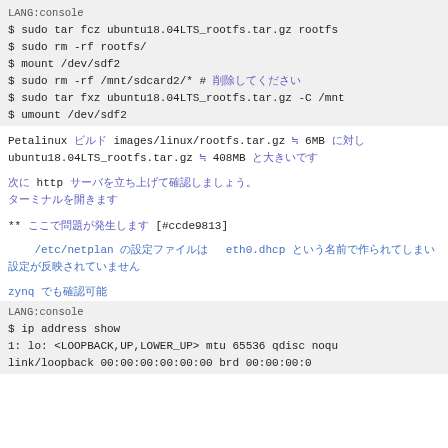LANG:console
$ sudo tar fcz ubuntu18.04LTS_rootfs.tar.gz rootfs
$ sudo rm -rf rootfs/
$ mount /dev/sdf2
$ sudo rm -rf /mnt/sdcard2/*  # 削除してください
$ sudo tar fxz ubuntu18.04LTS_rootfs.tar.gz -C /mnt
$ umount /dev/sdf2
Petalinux ビルド images/linux/rootfs.tar.gz ≒ 6MB に対し ubuntu18.04LTS_rootfs.tar.gz ≒ 408MB と大きいです
次に http サーバを立ち上げて確認しましょう。ターミナルを開きます
** ここで問題が発生します [#ccde9813]
/etc/netplan の設定ファイルは　eth0.dhcp という名前で作られてしまい設定が反映されていません
zynq でも確認可能
LANG:console
$ ip address show
  1: lo: <LOOPBACK,UP,LOWER_UP> mtu 65536 qdisc noqu
      link/loopback 00:00:00:00:00:00 brd 00:00:00:0